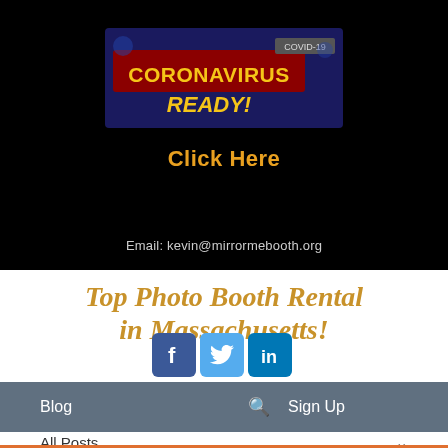[Figure (screenshot): Black banner with Coronavirus Ready! COVID-19 graphic, Click Here text in orange/gold, and email address kevin@mirrormebooth.org]
Top Photo Booth Rental in Massachusetts!
[Figure (logo): Social media icons: Facebook, Twitter, LinkedIn]
Blog   [search icon]   Sign Up
All Posts